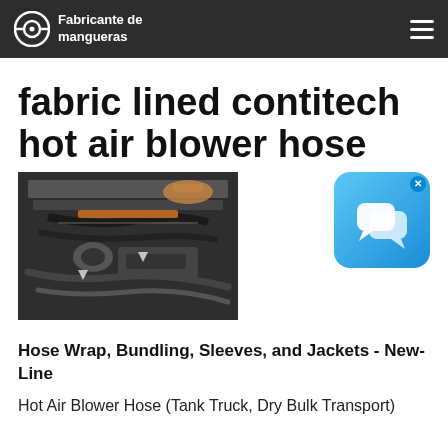Fabricante de mangueras
fabric lined contitech hot air blower hose
[Figure (photo): Engine bay photo showing hoses and components being worked on]
[Figure (other): Chat/messaging app widget icon with blue gradient background and speech bubble icons]
Hose Wrap, Bundling, Sleeves, and Jackets - New-Line
Hot Air Blower Hose (Tank Truck, Dry Bulk Transport)